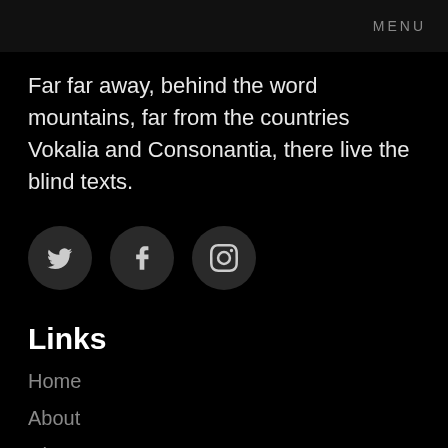MENU
Far far away, behind the word mountains, far from the countries Vokalia and Consonantia, there live the blind texts.
[Figure (illustration): Three circular dark social media icon buttons: Twitter bird icon, Facebook f icon, Instagram camera icon]
Links
Home
About
Chapter